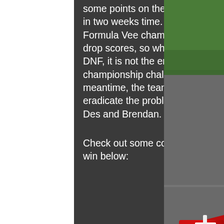some points on the board at Kirkistown in two weeks time. The structure of the Formula Vee championships allow for 2 drop scores, so while nobody wants a DNF, it is not the end of his championship challenge. In the meantime, the team will work hard to eradicate the problems suffered by both Des and Brendan.

Check out some coverage from Des's win below:
[Figure (photo): A red Formula Vee racing car numbered 26 with TOTAL sponsorship livery, photographed on a race track with green grass visible in the background.]